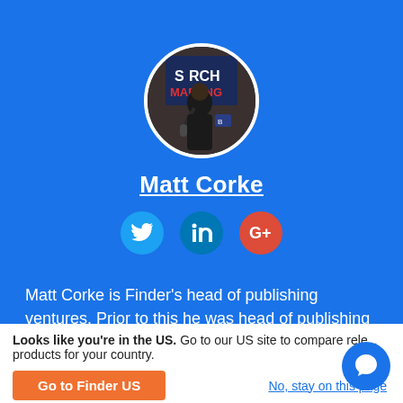[Figure (photo): Circular profile photo of Matt Corke speaking at a Search Marketing event, wearing a black outfit and holding a microphone]
Matt Corke
[Figure (infographic): Social media icons: Twitter (blue bird), LinkedIn (blue), Google+ (red)]
Matt Corke is Finder's head of publishing ventures. Prior to this he was head of publishing for Australia, New Zealand and emerging markets. Matt built his first website in 1999 and has been building computers since he was in his early teens. In that time, he has survived the dot
Looks like you're in the US. Go to our US site to compare relevant products for your country.
Go to Finder US
No, stay on this page